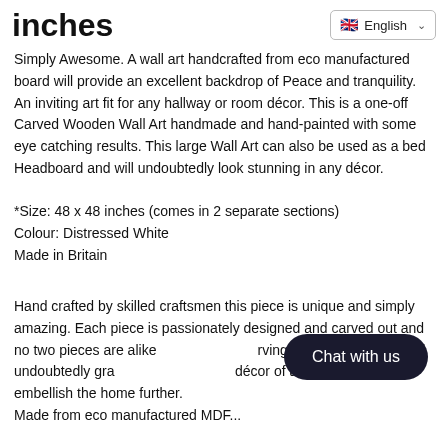inches
Simply Awesome. A wall art handcrafted from eco manufactured board will provide an excellent backdrop of Peace and tranquility. An inviting art fit for any hallway or room décor. This is a one-off Carved Wooden Wall Art handmade and hand-painted with some eye catching results. This large Wall Art can also be used as a bed Headboard and will undoubtedly look stunning in any décor.
*Size: 48 x 48 inches (comes in 2 separate sections)
Colour: Distressed White
Made in Britain
Hand crafted by skilled craftsmen this piece is unique and simply amazing. Each piece is passionately designed and carved out and no two pieces are alike making each carving quite unique. This will undoubtedly grace and transform the décor of any living space and embellish the home further. Made from eco manufactured MDF...